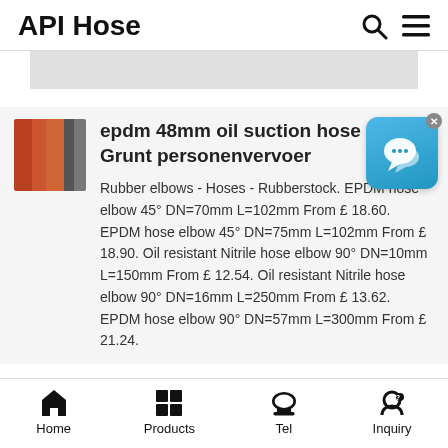API Hose
[Figure (screenshot): Gray banner placeholder area]
[Figure (photo): Thumbnail image of orange/brown rubber hoses bundled together]
epdm 48mm oil suction hose - De Grunt personenvervoer
Rubber elbows - Hoses - Rubberstock. EPDM hose elbow 45° DN=70mm L=102mm From £ 18.60. EPDM hose elbow 45° DN=75mm L=102mm From £ 18.90. Oil resistant Nitrile hose elbow 90° DN=10mm L=150mm From £ 12.54. Oil resistant Nitrile hose elbow 90° DN=16mm L=250mm From £ 13.62. EPDM hose elbow 90° DN=57mm L=300mm From £ 21.24.
[Figure (screenshot): Blue chat support widget with speech bubble icon and close button]
Home  Products  Tel  Inquiry